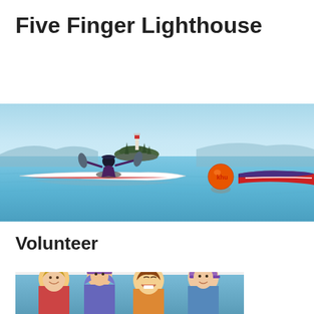Five Finger Lighthouse
[Figure (photo): A kayaker paddling on calm blue water with a small island featuring a lighthouse in the background, and orange and blue flotation buoys visible to the right.]
Volunteer
[Figure (photo): Group of smiling people on a boat on the water, partially cropped at the bottom of the page.]